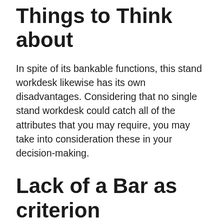Things to Think about
In spite of its bankable functions, this stand workdesk likewise has its own disadvantages. Considering that no single stand workdesk could catch all of the attributes that you may require, you may take into consideration these in your decision-making.
Lack of a Bar as criterion
Not having a supporting crossbar is certainly not a deal-breaker, especially taking into consideration a few of our other favored workdesks such as the Completely Jarvis